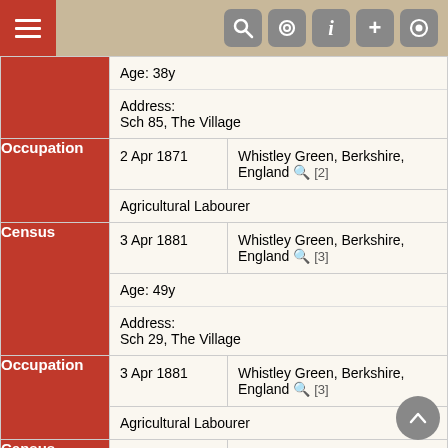Navigation bar with hamburger menu and icons
| Type | Date | Location | Details |
| --- | --- | --- | --- |
|  | Age: 38y |  |  |
|  | Address: Sch 85, The Village |  |  |
| Occupation | 2 Apr 1871 | Whistley Green, Berkshire, England [2] | Agricultural Labourer |
| Census | 3 Apr 1881 | Whistley Green, Berkshire, England [3] | Age: 49y | Address: Sch 29, The Village |
| Occupation | 3 Apr 1881 | Whistley Green, Berkshire, England [3] | Agricultural Labourer |
| Census | 5 Apr 1891 | Whistley Green, Berkshire, England [4] | Age: 60y | Address: Sch 135, Broad Common (Adj. to Police Station) |
| Occupation | 5 Apr 1891 | Whistley Green, Berkshire, England [4] | Agricultural Labourer |
| Census | 31 Mar | Whistley Green, Berkshire, England [5] |  |